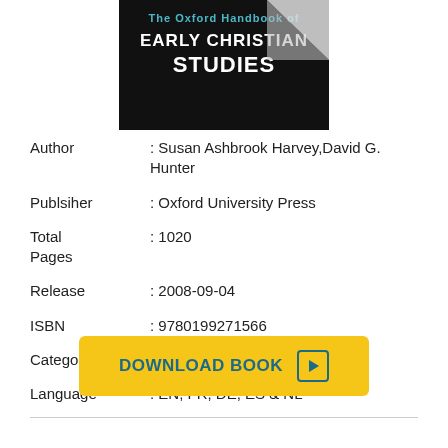[Figure (illustration): Book cover showing 'Early Christian Studies' title on dark background with a page curl effect]
Author : Susan Ashbrook Harvey,David G. Hunter
Publsiher : Oxford University Press
Total Pages : 1020
Release : 2008-09-04
ISBN : 9780199271566
Category : Philosophy
Language : EN, FR, DE, ES & NL
[Figure (other): Yellow DOWNLOAD BOOK button with play icon]